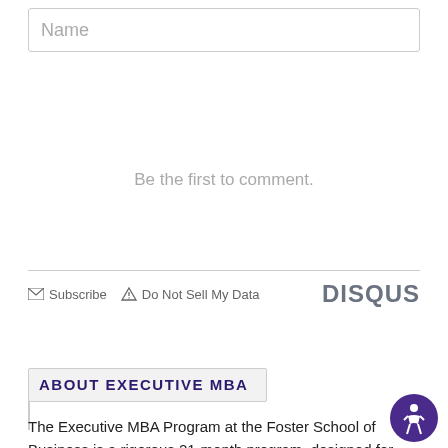Name
Be the first to comment.
Subscribe  Do Not Sell My Data  DISQUS
ABOUT EXECUTIVE MBA
The Executive MBA Program at the Foster School of Business is a rigorous 21-month program, designed for mid-to-senior managers, that provides a collaborative learning environment